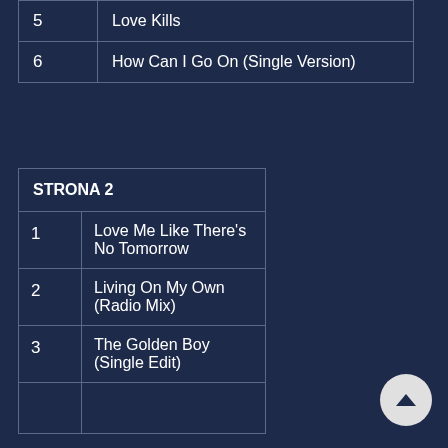| # | Title |
| --- | --- |
| 5 | Love Kills |
| 6 | How Can I Go On (Single Version) |
| STRONA 2 |
| --- |
| 1 | Love Me Like There's No Tomorrow |
| 2 | Living On My Own (Radio Mix) |
| 3 | The Golden Boy (Single Edit) |
| 4 |  |